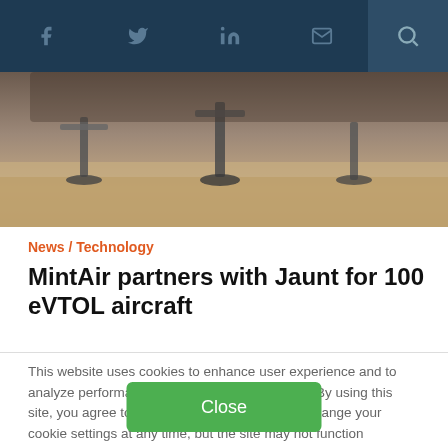f  Twitter  in  mail  search
[Figure (photo): Close-up photo of eVTOL aircraft landing gear/undercarriage on a sandy surface, metallic components visible]
News / Technology
MintAir partners with Jaunt for 100 eVTOL aircraft
This website uses cookies to enhance user experience and to analyze performance and traffic on our website. By using this site, you agree to the use of cookies. You may change your cookie settings at any time, but the site may not function properly.  Cookie Policy
Close